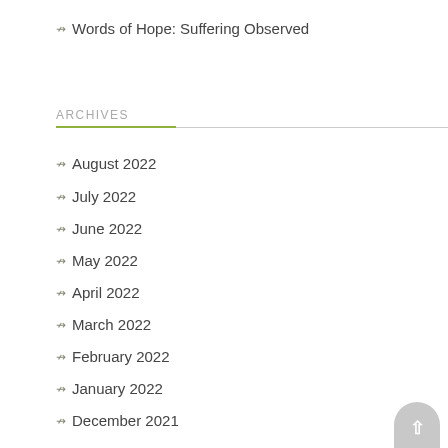Words of Hope: Suffering Observed
ARCHIVES
August 2022
July 2022
June 2022
May 2022
April 2022
March 2022
February 2022
January 2022
December 2021
November 2021
October 2021
September 2021